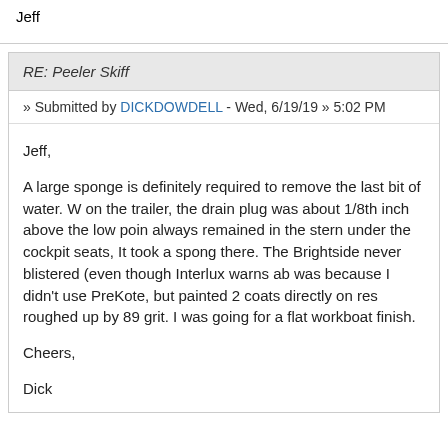Jeff
RE: Peeler Skiff
» Submitted by DICKDOWDELL - Wed, 6/19/19 » 5:02 PM
Jeff,

A large sponge is definitely required to remove the last bit of water. W on the trailer, the drain plug was about 1/8th inch above the low poin always remained in the stern under the cockpit seats, It took a spong there. The Brightside never blistered (even though Interlux warns ab was because I didn't use PreKote, but painted 2 coats directly on res roughed up by 89 grit. I was going for a flat workboat finish.

Cheers,

Dick